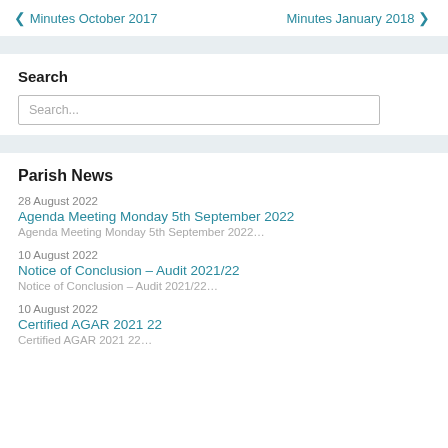❮ Minutes October 2017    Minutes January 2018 ❯
Search
Search...
Parish News
28 August 2022
Agenda Meeting Monday 5th September 2022
Agenda Meeting Monday 5th September 2022...
10 August 2022
Notice of Conclusion – Audit 2021/22
Notice of Conclusion – Audit 2021/22...
10 August 2022
Certified AGAR 2021 22
Certified AGAR 2021 22...